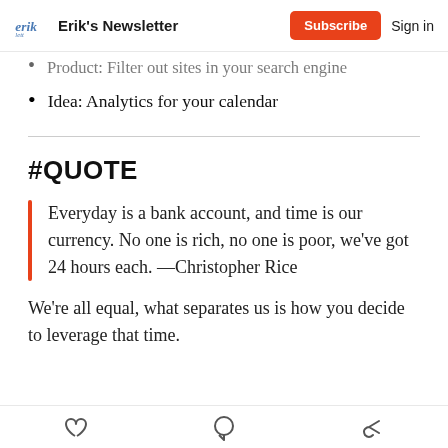Erik's Newsletter | Subscribe | Sign in
Product: Filter out sites in your search engine
Idea: Analytics for your calendar
#QUOTE
Everyday is a bank account, and time is our currency. No one is rich, no one is poor, we've got 24 hours each. —Christopher Rice
We're all equal, what separates us is how you decide to leverage that time.
Like · Comment · Share